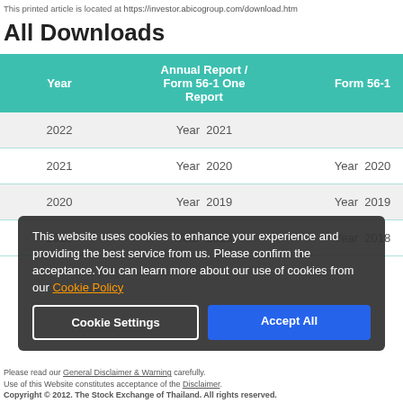This printed article is located at https://investor.abicogroup.com/download.htm
All Downloads
| Year | Annual Report / Form 56-1 One Report | Form 56-1 |
| --- | --- | --- |
| 2022 | Year 2021 |  |
| 2021 | Year 2020 | Year 2020 |
| 2020 | Year 2019 | Year 2019 |
| 2019 | Year 2018 | Year 2018 |
This website uses cookies to enhance your experience and providing the best service from us. Please confirm the acceptance.You can learn more about our use of cookies from our Cookie Policy
Cookie Settings  Accept All
Please read our General Disclaimer & Warning carefully. Use of this Website constitutes acceptance of the Disclaimer. Copyright © 2012. The Stock Exchange of Thailand. All rights reserved.